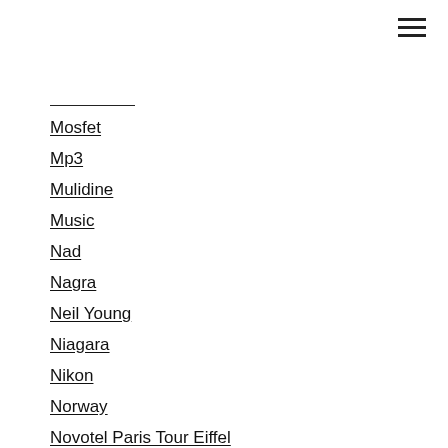Mosfet
Mp3
Mulidine
Music
Nad
Nagra
Neil Young
Niagara
Nikon
Norway
Novotel Paris Tour Eiffel
Nuvo Technologies
Ny 2014
Nye 2014
Ocean
Ocellia